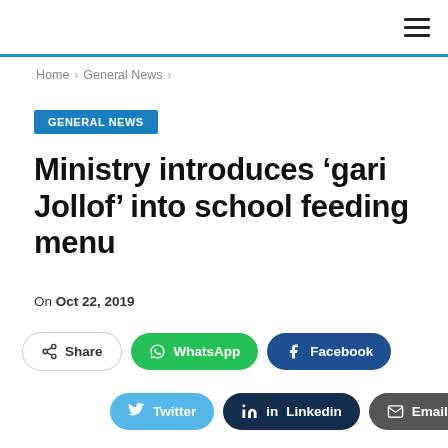Home > General News >
GENERAL NEWS
Ministry introduces ‘gari Jollof’ into school feeding menu
On Oct 22, 2019
Share | WhatsApp | Facebook | Twitter | Linkedin | Email